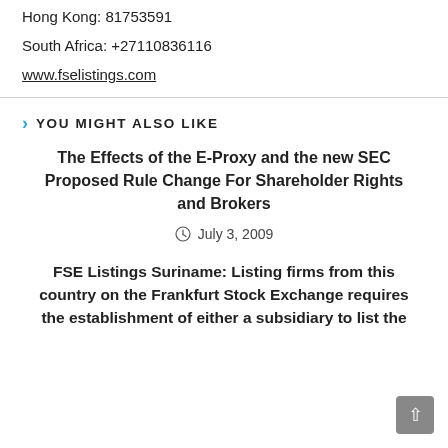Hong Kong: 81753591
South Africa: +27110836116
www.fselistings.com
YOU MIGHT ALSO LIKE
The Effects of the E-Proxy and the new SEC Proposed Rule Change For Shareholder Rights and Brokers
July 3, 2009
FSE Listings Suriname: Listing firms from this country on the Frankfurt Stock Exchange requires the establishment of either a subsidiary to list the